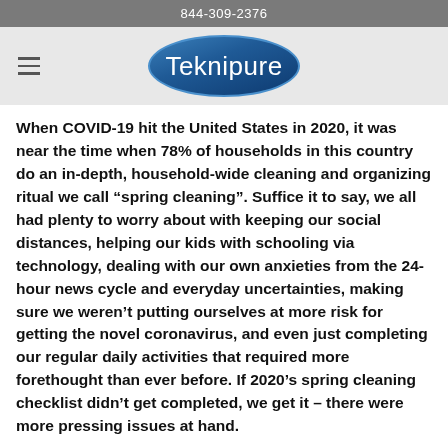844-309-2376
[Figure (logo): Teknipure logo: white text 'Teknipure' on a dark blue oval/ellipse shape]
When COVID-19 hit the United States in 2020, it was near the time when 78% of households in this country do an in-depth, household-wide cleaning and organizing ritual we call “spring cleaning”. Suffice it to say, we all had plenty to worry about with keeping our social distances, helping our kids with schooling via technology, dealing with our own anxieties from the 24-hour news cycle and everyday uncertainties, making sure we weren’t putting ourselves at more risk for getting the novel coronavirus, and even just completing our regular daily activities that required more forethought than ever before. If 2020’s spring cleaning checklist didn’t get completed, we get it – there were more pressing issues at hand.